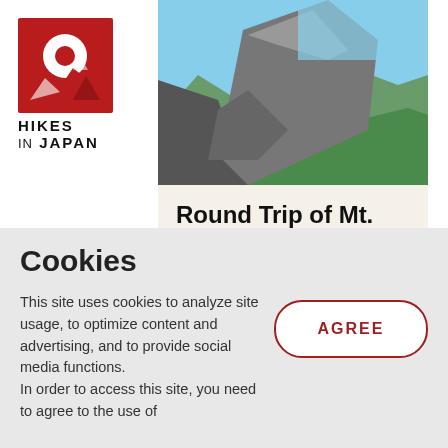[Figure (logo): Hikes in Japan logo: red square with white circle and mountain silhouette, text HIKES IN JAPAN below]
[Figure (photo): Mountain landscape photo with large rocks in foreground, green hills and blue sky in background]
Round Trip of Mt. Homan from Kamado-jinja Shrine
Experience the history of religious faith in the
Cookies
This site uses cookies to analyze site usage, to optimize content and advertising, and to provide social media functions.
In order to access this site, you need to agree to the use of